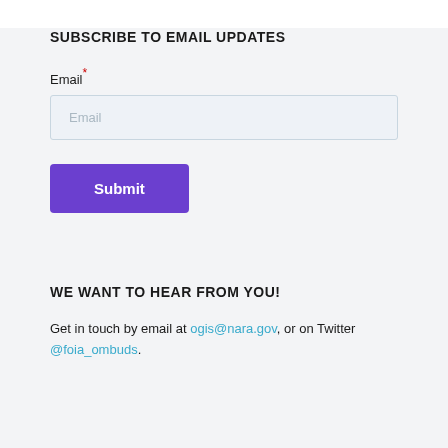SUBSCRIBE TO EMAIL UPDATES
Email*
Email
Submit
WE WANT TO HEAR FROM YOU!
Get in touch by email at ogis@nara.gov, or on Twitter @foia_ombuds.